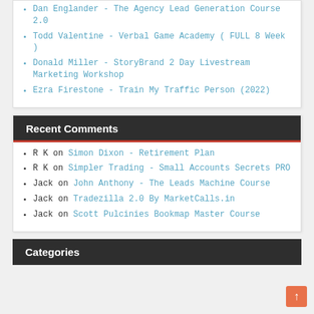Dan Englander - The Agency Lead Generation Course 2.0
Todd Valentine - Verbal Game Academy ( FULL 8 Week )
Donald Miller - StoryBrand 2 Day Livestream Marketing Workshop
Ezra Firestone - Train My Traffic Person (2022)
Recent Comments
R K on Simon Dixon - Retirement Plan
R K on Simpler Trading - Small Accounts Secrets PRO
Jack on John Anthony - The Leads Machine Course
Jack on Tradezilla 2.0 By MarketCalls.in
Jack on Scott Pulcinies Bookmap Master Course
Categories